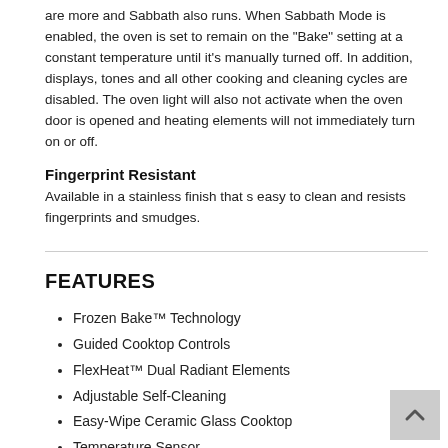are more and Sabbath also runs. When Sabbath Mode is enabled, the oven is set to remain on the "Bake" setting at a constant temperature until it's manually turned off. In addition, displays, tones and all other cooking and cleaning cycles are disabled. The oven light will also not activate when the oven door is opened and heating elements will not immediately turn on or off.
Fingerprint Resistant
Available in a stainless finish that s easy to clean and resists fingerprints and smudges.
FEATURES
Frozen Bake™ Technology
Guided Cooktop Controls
FlexHeat™ Dual Radiant Elements
Adjustable Self-Cleaning
Easy-Wipe Ceramic Glass Cooktop
Temperature Sensor
4.8 cu. ft. Capacity